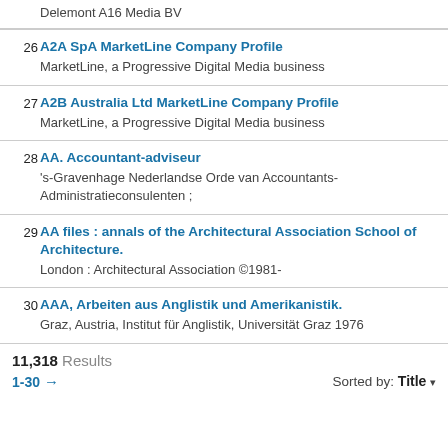Delemont A16 Media BV
26 A2A SpA MarketLine Company Profile
MarketLine, a Progressive Digital Media business
27 A2B Australia Ltd MarketLine Company Profile
MarketLine, a Progressive Digital Media business
28 AA. Accountant-adviseur
's-Gravenhage Nederlandse Orde van Accountants-Administratieconsulenten ;
29 AA files : annals of the Architectural Association School of Architecture.
London : Architectural Association ©1981-
30 AAA, Arbeiten aus Anglistik und Amerikanistik.
Graz, Austria, Institut für Anglistik, Universität Graz 1976
11,318 Results
1-30 → Sorted by: Title ▾